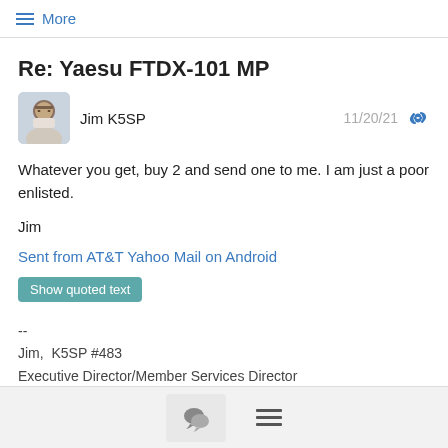≡ More
Re: Yaesu FTDX-101 MP
Jim K5SP
11/20/21
Whatever you get, buy 2 and send one to me. I am just a poor enlisted.

Jim
Sent from AT&T Yahoo Mail on Android
Show quoted text
--
Jim,  K5SP #483
Executive Director/Member Services Director